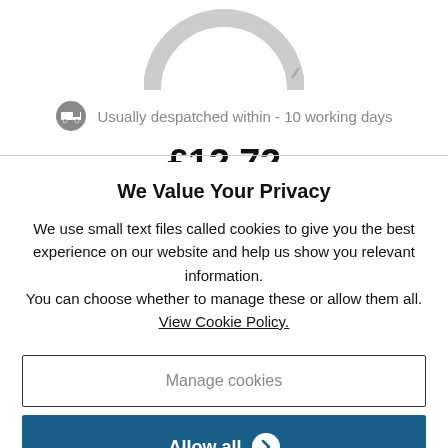[Figure (donut-chart): Partial donut/ring chart, light grey, cropped at top of page]
Usually despatched within - 10 working days
£12.72
We Value Your Privacy
We use small text files called cookies to give you the best experience on our website and help us show you relevant information.
You can choose whether to manage these or allow them all.
View Cookie Policy.
Manage cookies
Allow all